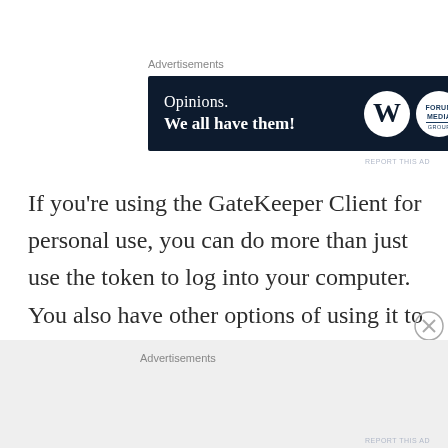Advertisements
[Figure (other): Advertisement banner with dark navy background showing 'Opinions. We all have them!' with WordPress and blog logos]
REPORT THIS AD
If you're using the GateKeeper Client for personal use, you can do more than just use the token to log into your computer. You also have other options of using it to log into your favorite websites. By going into the Credentials Management tab, you can add in the username and password of your
Advertisements
REPORT THIS AD